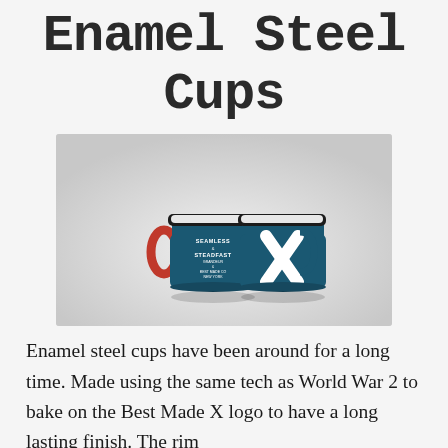Enamel Steel Cups
[Figure (photo): Two teal/dark blue enamel steel mugs with red handles. The left mug has white text reading 'SEAMLESS & STEADFAST' and other text. The right mug has a white X cross logo. Both mugs have a black rim.]
Enamel steel cups have been around for a long time. Made using the same tech as World War 2 to bake on the Best Made X logo to have a long lasting finish. The rim